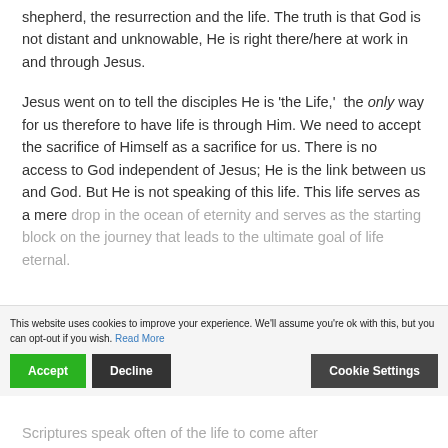shepherd, the resurrection and the life. The truth is that God is not distant and unknowable, He is right there/here at work in and through Jesus.
Jesus went on to tell the disciples He is 'the Life,' the only way for us therefore to have life is through Him. We need to accept the sacrifice of Himself as a sacrifice for us. There is no access to God independent of Jesus; He is the link between us and God. But He is not speaking of this life. This life serves as a mere drop in the ocean of eternity and serves as the starting block on the journey that leads to the ultimate goal of life eternal.
This website uses cookies to improve your experience. We'll assume you're ok with this, but you can opt-out if you wish. Read More
Scriptures speak often of the life to come after